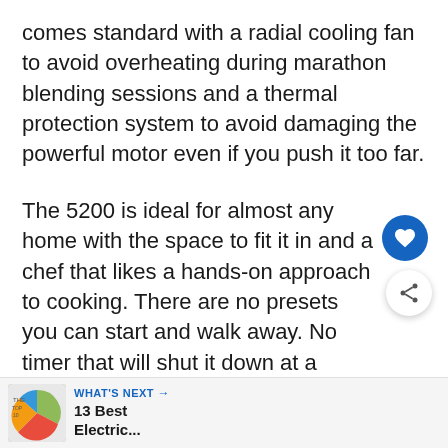comes standard with a radial cooling fan to avoid overheating during marathon blending sessions and a thermal protection system to avoid damaging the powerful motor even if you push it too far.
The 5200 is ideal for almost any home with the space to fit it in and a chef that likes a hands-on approach to cooking. There are no presets you can start and walk away. No timer that will shut it down at a preset point. You will have a blender that can perform day in and day years without any issues at all.
[Figure (infographic): Blue circular heart/save button and blue circular share button overlaid on the text. A 'WHAT'S NEXT' banner at the bottom with a food image and text '13 Best Electric...']